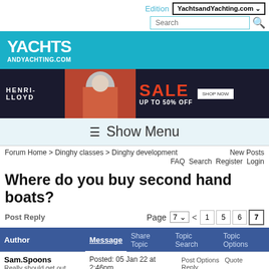Edition YachtsandYachting.com
[Figure (logo): YachtsAndYachting.com logo on teal background]
[Figure (photo): Henri-Lloyd SALE UP TO 50% OFF advertisement banner with sailor photo]
☰ Show Menu
Forum Home > Dinghy classes > Dinghy development
New Posts FAQ Search Register Login
Where do you buy second hand boats?
Post Reply   Page 7 < 1 5 6 7
| Author | Message | Share Topic | Topic Search | Topic Options |
| --- | --- | --- | --- | --- |
| Sam.Spoons
Really should get out more

Joined: 07 Mar 12
Location: Manchester UK
Online Status: Offline | Posted: 05 Jan 22 at 2:46pm   Post Options   Quote   Reply

Originally posted by eric_c |
Originally posted by eric_c